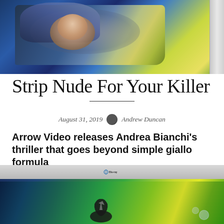[Figure (illustration): Movie artwork showing a figure upside-down with dramatic blue and yellow-green colors, with a book/case spine visible on the right edge]
Strip Nude For Your Killer
August 31, 2019   Andrew Duncan
Arrow Video releases Andrea Bianchi's thriller that goes beyond simple giallo formula
[Figure (photo): Blu-ray disc case showing movie artwork with dark figure holding a knife against teal and green background, Blu-ray logo on top of case]